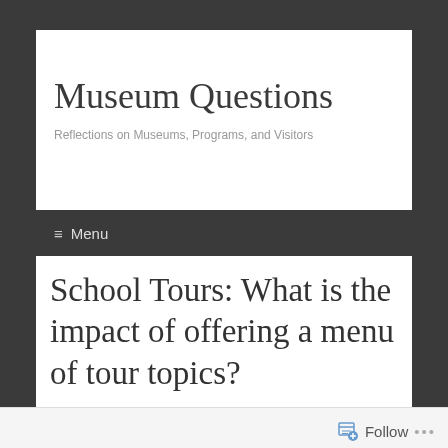Museum Questions
Reflections on Museums, Programs, and Visitors
≡ Menu
School Tours: What is the impact of offering a menu of tour topics?
Follow •••